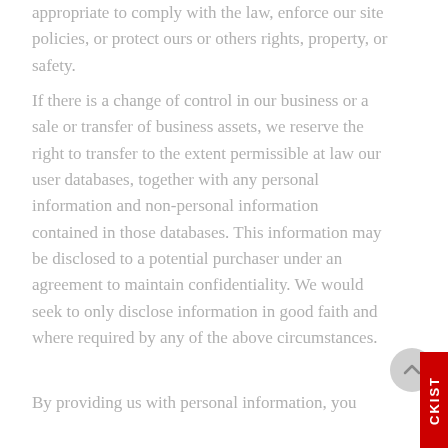appropriate to comply with the law, enforce our site policies, or protect ours or others rights, property, or safety.
If there is a change of control in our business or a sale or transfer of business assets, we reserve the right to transfer to the extent permissible at law our user databases, together with any personal information and non-personal information contained in those databases. This information may be disclosed to a potential purchaser under an agreement to maintain confidentiality. We would seek to only disclose information in good faith and where required by any of the above circumstances.
By providing us with personal information, you